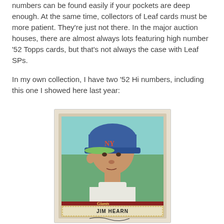numbers can be found easily if your pockets are deep enough. At the same time, collectors of Leaf cards must be more patient. They're just not there. In the major auction houses, there are almost always lots featuring high number '52 Topps cards, but that's not always the case with Leaf SPs.
In my own collection, I have two '52 Hi numbers, including this one I showed here last year:
[Figure (photo): A 1952 Topps baseball card of Jim Hearn, showing a portrait of a baseball player wearing a New York Giants cap with the NY logo in orange. The player is in a Giants uniform. The bottom of the card has a red pennant-style banner reading 'Giants' and a name plate reading 'JIM HEARN' with a signature below.]